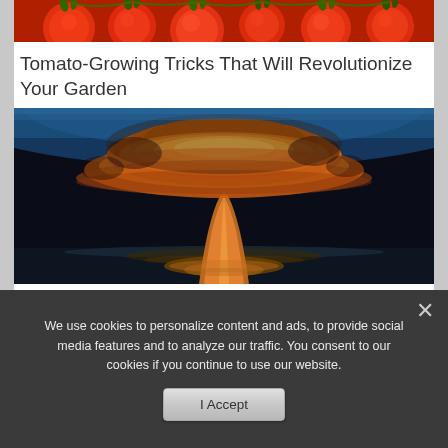[Figure (photo): Partial view of red tomatoes on vine, cropped at top of frame]
Tomato-Growing Tricks That Will Revolutionize Your Garden
[Figure (photo): Nuclear explosion mushroom cloud with orange and yellow fireball over dark water, viewed from distance with blue atmospheric glow at top]
The Russian EMP Test You've Never Heard Of
We use cookies to personalize content and ads, to provide social media features and to analyze our traffic. You consent to our cookies if you continue to use our website.
I Accept